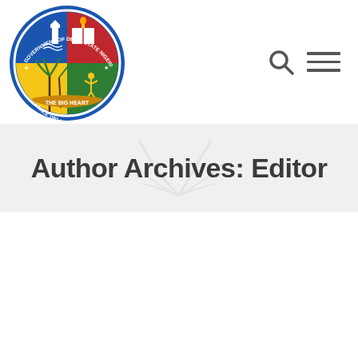[Figure (logo): Government of Delta State Nigeria circular seal/logo with blue, red, and gold quadrants, lighthouse, book, palm trees, and banner reading 'THE BIG HEART · SINCE 1991']
Author Archives: Editor